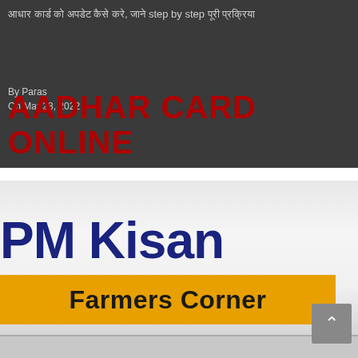[Figure (screenshot): Article thumbnail image with dark gray background showing Hindi text about Aadhar Card online process step by step, with large dark red text 'AADHAR CARD ONLINE', author 'By Paras' and date 'On Mar 28, 2022']
[Figure (photo): Close-up screenshot of PM Kisan website showing 'PM Kisan' in large dark blue text and a yellow banner with 'Farmers Corner' in bold black text, along with a partially visible bottom strip]